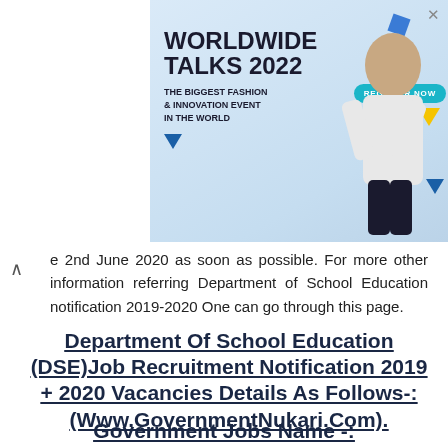[Figure (illustration): Advertisement banner for Worldwide Talks 2022 - The Biggest Fashion & Innovation Event in the World, with a Register Now button and decorative shapes]
e 2nd June 2020 as soon as possible. For more other information referring Department of School Education notification 2019-2020 One can go through this page.
Department Of School Education (DSE)Job Recruitment Notification 2019 + 2020 Vacancies Details As Follows-: (Www.GovernmentNukari.Com).
Government Jobs Name -: